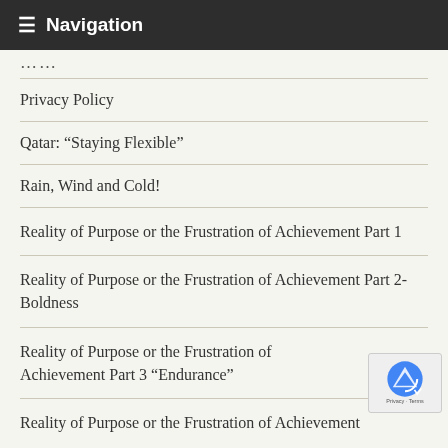≡ Navigation
....
Privacy Policy
Qatar: “Staying Flexible”
Rain, Wind and Cold!
Reality of Purpose or the Frustration of Achievement Part 1
Reality of Purpose or the Frustration of Achievement Part 2-Boldness
Reality of Purpose or the Frustration of Achievement Part 3 “Endurance”
Reality of Purpose or the Frustration of Achievement